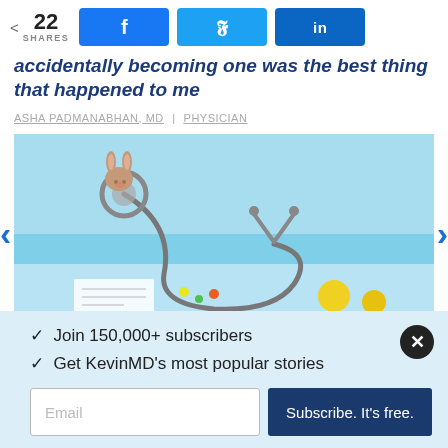22 SHARES | Facebook | Twitter | LinkedIn
accidentally becoming one was the best thing that happened to me
ASHA PADMANABHAN, MD | PHYSICIAN
[Figure (photo): Stethoscope with a small stuffed bunny attached to it, along with small colorful toys on a light blue background — pediatric medical theme.]
✓ Join 150,000+ subscribers
✓ Get KevinMD's most popular stories
Email | Subscribe. It's free.